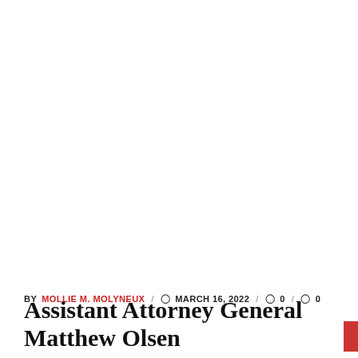BY MOLLIE M. MOLYNEUX / 🕐 MARCH 16, 2022 / 💬 0 / 🔖 0
Assistant Attorney General Matthew Olsen